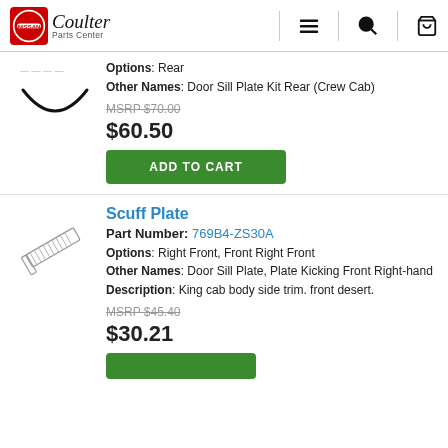Nissan Coulter Parts Center
Options: Rear
Other Names: Door Sill Plate Kit Rear (Crew Cab)
MSRP $70.00
$60.50
ADD TO CART
Scuff Plate
Part Number: 769B4-ZS30A
Options: Right Front, Front Right Front
Other Names: Door Sill Plate, Plate Kicking Front Right-hand
Description: King cab body side trim. front desert.
MSRP $45.40
$30.21
ADD TO CART